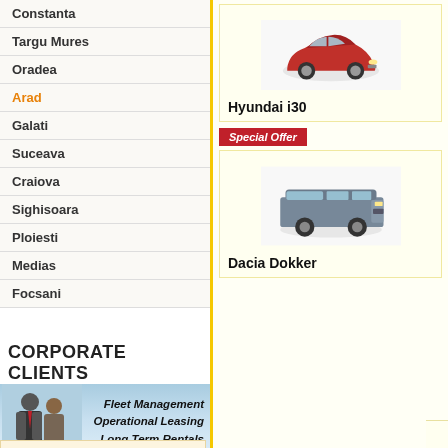Constanta
Targu Mures
Oradea
Arad
Galati
Suceava
Craiova
Sighisoara
Ploiesti
Medias
Focsani
[Figure (infographic): Corporate Clients banner with two business people, text: Fleet Management, Operational Leasing, Long Term Rentals, and a red FIND OUT MORE button]
HOW TO RENT:
Tips for easy car rental Arad!
We partner with every major car rental company in Romania to help you find the
[Figure (photo): Red Hyundai i30 car photo]
Hyundai i30
Special Offer
[Figure (photo): Grey Dacia Dokker van photo]
Dacia Dokker